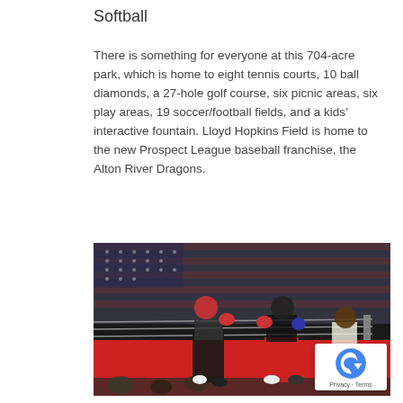Softball
There is something for everyone at this 704-acre park, which is home to eight tennis courts, 10 ball diamonds, a 27-hole golf course, six picnic areas, six play areas, 19 soccer/football fields, and a kids’ interactive fountain. Lloyd Hopkins Field is home to the new Prospect League baseball franchise, the Alton River Dragons.
[Figure (photo): Two boxers fighting in a boxing ring with a large American flag backdrop. A referee stands in the background. The ring has red canvas.]